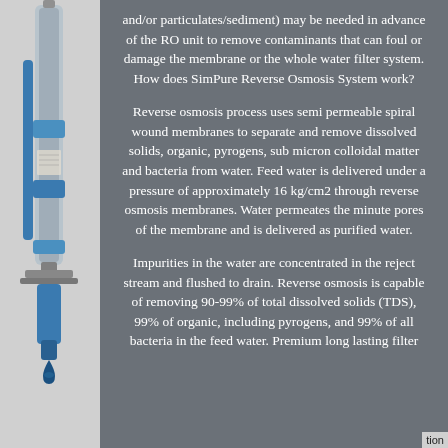[Figure (photo): Left side panel showing a water filtration device/RO system with blue components and a water drop icon at the bottom]
and/or particulates/sediment) may be needed in advance of the RO unit to remove contaminants that can foul or damage the membrane or the whole water filter system. How does SimPure Reverse Osmosis System work?
Reverse osmosis process uses semi permeable spiral wound membranes to separate and remove dissolved solids, organic, pyrogens, sub micron colloidal matter and bacteria from water. Feed water is delivered under a pressure of approximately 16 kg/cm2 through reverse osmosis membranes. Water permeates the minute pores of the membrane and is delivered as purified water.
Impurities in the water are concentrated in the reject stream and flushed to drain. Reverse osmosis is capable of removing 90-99% of total dissolved solids (TDS), 99% of organic, including pyrogens, and 99% of all bacteria in the feed water. Premium long lasting filter...
tion